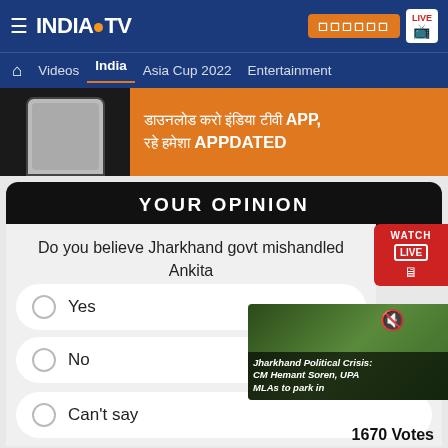[Figure (screenshot): India TV website navigation header with logo, hamburger menu, Hindi button, and LIVE TV button]
Videos | India | Asia Cup 2022 | Entertainment
[Figure (infographic): App download banner with phone image and text in Hindi: download karo India TV APP, and stay APPDATED]
YOUR OPINION
Do you believe Jharkhand govt mishandled Ankita murder case?
Yes
No
Can't say
1670 Votes